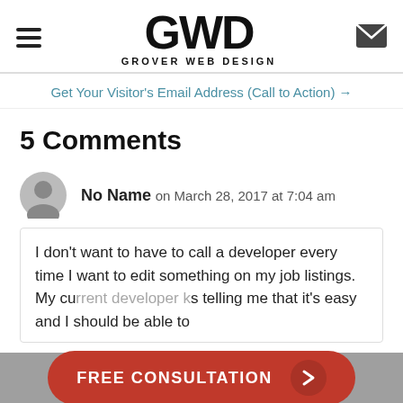GWD GROVER WEB DESIGN
Get Your Visitor's Email Address (Call to Action) →
5 Comments
No Name on March 28, 2017 at 7:04 am
I don't want to have to call a developer every time I want to edit something on my job listings. My cu... k...s telling me that it's easy and I should be able to
FREE CONSULTATION